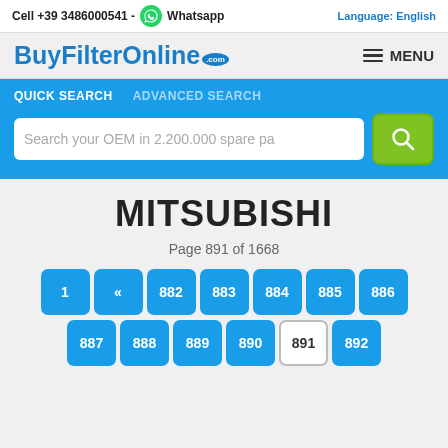Cell +39 3486000541 - Whatsapp | Language: English
[Figure (logo): BuyFilterOnline.com logo with MENU button]
QUICK SEARCH   ADVANCED SEARCH
Search your OEM in 2.200.000 spare pa
MITSUBISHI
Page 891 of 1668
1  «  882  883  884  885  886
887  888  889  890  891  892